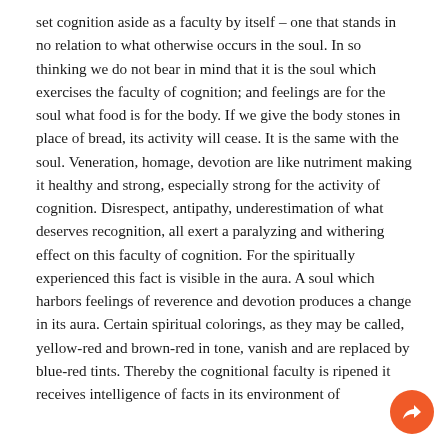set cognition aside as a faculty by itself – one that stands in no relation to what otherwise occurs in the soul. In so thinking we do not bear in mind that it is the soul which exercises the faculty of cognition; and feelings are for the soul what food is for the body. If we give the body stones in place of bread, its activity will cease. It is the same with the soul. Veneration, homage, devotion are like nutriment making it healthy and strong, especially strong for the activity of cognition. Disrespect, antipathy, underestimation of what deserves recognition, all exert a paralyzing and withering effect on this faculty of cognition. For the spiritually experienced this fact is visible in the aura. A soul which harbors feelings of reverence and devotion produces a change in its aura. Certain spiritual colorings, as they may be called, yellow-red and brown-red in tone, vanish and are replaced by blue-red tints. Thereby the cognitional faculty is ripened it receives intelligence of facts in its environment of